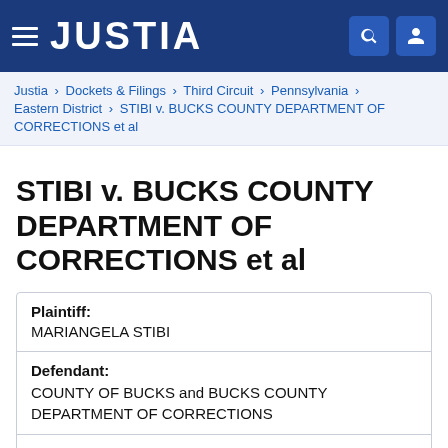JUSTIA
Justia › Dockets & Filings › Third Circuit › Pennsylvania › Eastern District › STIBI v. BUCKS COUNTY DEPARTMENT OF CORRECTIONS et al
STIBI v. BUCKS COUNTY DEPARTMENT OF CORRECTIONS et al
| Plaintiff: | MARIANGELA STIBI |
| Defendant: | COUNTY OF BUCKS and BUCKS COUNTY DEPARTMENT OF CORRECTIONS |
| Case Number: | 2:2021cv02766 |